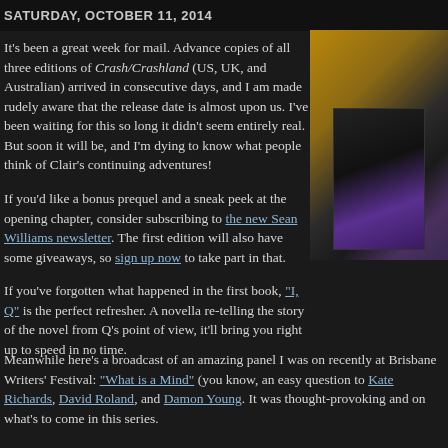SATURDAY, OCTOBER 11, 2014
It's been a great week for mail. Advance copies of all three editions of Crash/Crashland (US, UK, and Australian) arrived in consecutive days, and I am made rudely aware that the release date is almost upon us. I've been waiting for this so long it didn't seem entirely real. But soon it will be, and I'm dying to know what people think of Clair's continuing adventures!
If you'd like a bonus prequel and a sneak peek at the opening chapter, consider subscribing to the new Sean Williams newsletter. The first edition will also have some giveaways, so sign up now to take part in that.
If you've forgotten what happened in the first book, "I, Q" is the perfect refresher. A novella re-telling the story of the novel from Q's point of view, it'll bring you right up to speed in no time.
Meanwhile here's a broadcast of an amazing panel I was on recently at Brisbane Writers' Festival: "What is a Mind" (you know, an easy question to Kate Richards, David Roland, and Damon Young. It was thought-provoking and on what's to come in this series.
[Figure (photo): Photo of what appears to be book editions on a wooden surface, with a dark device/book spine visible]